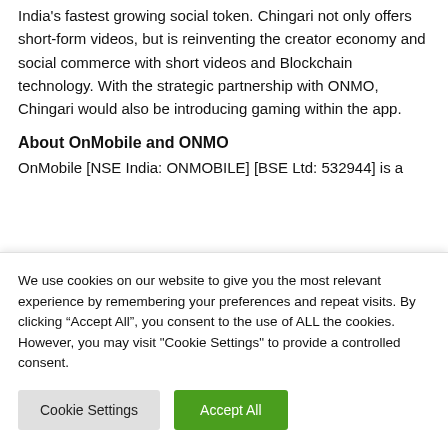Chingari started as a short-form video app and is now India's fastest growing social token. Chingari not only offers short-form videos, but is reinventing the creator economy and social commerce with short videos and Blockchain technology. With the strategic partnership with ONMO, Chingari would also be introducing gaming within the app.
About OnMobile and ONMO
OnMobile [NSE India: ONMOBILE] [BSE Ltd: 532944] is a
We use cookies on our website to give you the most relevant experience by remembering your preferences and repeat visits. By clicking “Accept All”, you consent to the use of ALL the cookies. However, you may visit "Cookie Settings" to provide a controlled consent.